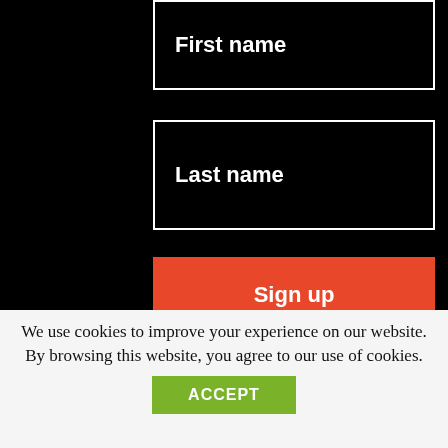First name
Last name
Sign up
...
We use cookies to improve your experience on our website. By browsing this website, you agree to our use of cookies.
ACCEPT